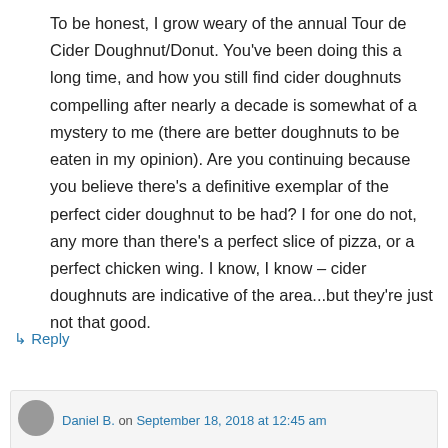To be honest, I grow weary of the annual Tour de Cider Doughnut/Donut. You've been doing this a long time, and how you still find cider doughnuts compelling after nearly a decade is somewhat of a mystery to me (there are better doughnuts to be eaten in my opinion). Are you continuing because you believe there's a definitive exemplar of the perfect cider doughnut to be had? I for one do not, any more than there's a perfect slice of pizza, or a perfect chicken wing. I know, I know – cider doughnuts are indicative of the area...but they're just not that good.
↳ Reply
Daniel B. on September 18, 2018 at 12:45 am